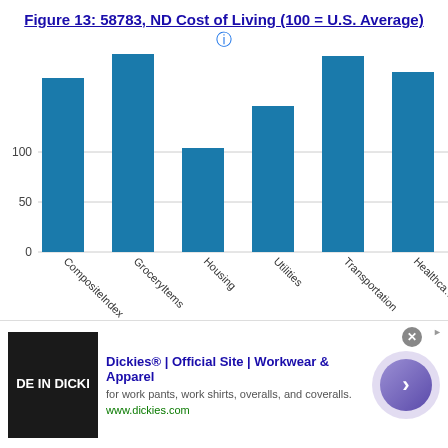Figure 13: 58783, ND Cost of Living (100 = U.S. Average)
[Figure (bar-chart): 58783, ND Cost of Living (100 = U.S. Average)]
[Figure (infographic): Advertisement banner for Dickies workwear showing logo image, headline, description and call-to-action button]